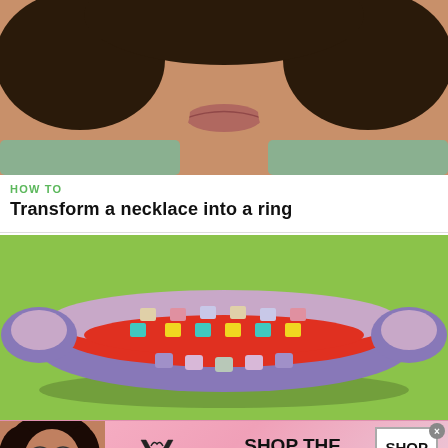[Figure (photo): Close-up photo of a woman's face from nose down, wearing hoop earrings and a light green top, speaking or explaining something]
HOW TO
Transform a necklace into a ring
[Figure (photo): Colorful handmade crochet/macrame bracelet with red, blue, pink, yellow, and teal yarn on a bright green background]
[Figure (photo): Victoria's Secret advertisement banner with a model, VS logo, 'SHOP THE COLLECTION' text, and 'SHOP NOW' button]